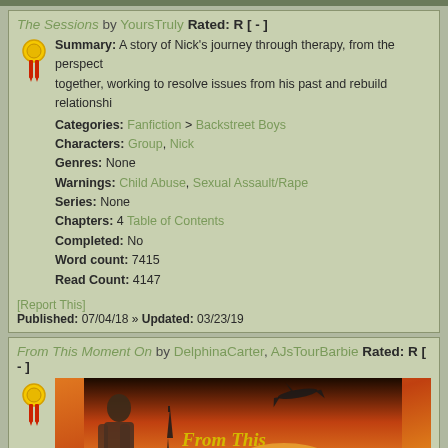The Sessions by YoursTruly Rated: R [ - ]
Summary: A story of Nick's journey through therapy, from the perspective of together, working to resolve issues from his past and rebuild relationships.
Categories: Fanfiction > Backstreet Boys
Characters: Group, Nick
Genres: None
Warnings: Child Abuse, Sexual Assault/Rape
Series: None
Chapters: 4 Table of Contents
Completed: No
Word count: 7415
Read Count: 4147
[Report This] Published: 07/04/18 » Updated: 03/23/19
From This Moment On by DelphinaCarter, AJsTourBarbie Rated: R [ - ]
[Figure (illustration): Book cover image showing a person in plaid, Eiffel Tower, airplane silhouette against sunset, text 'From This Moment On']